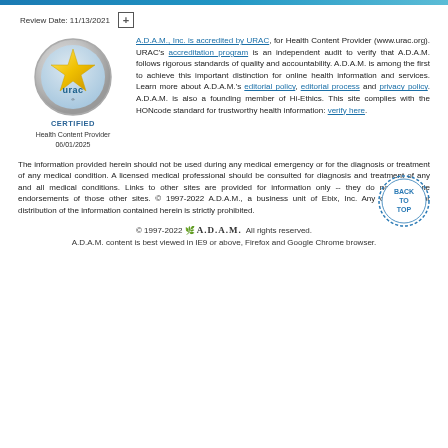Review Date: 11/13/2021
[Figure (logo): URAC certified logo - circular silver badge with gold star and 'urac' text, labeled CERTIFIED, Health Content Provider 06/01/2025]
A.D.A.M., Inc. is accredited by URAC, for Health Content Provider (www.urac.org). URAC's accreditation program is an independent audit to verify that A.D.A.M. follows rigorous standards of quality and accountability. A.D.A.M. is among the first to achieve this important distinction for online health information and services. Learn more about A.D.A.M.'s editorial policy, editorial process and privacy policy. A.D.A.M. is also a founding member of Hi-Ethics. This site complies with the HONcode standard for trustworthy health information: verify here.
The information provided herein should not be used during any medical emergency or for the diagnosis or treatment of any medical condition. A licensed medical professional should be consulted for diagnosis and treatment of any and all medical conditions. Links to other sites are provided for information only -- they do not constitute endorsements of those other sites. © 1997-2022 A.D.A.M., a business unit of Ebix, Inc. Any duplication or distribution of the information contained herein is strictly prohibited.
© 1997-2022 A.D.A.M. All rights reserved. A.D.A.M. content is best viewed in IE9 or above, Firefox and Google Chrome browser.